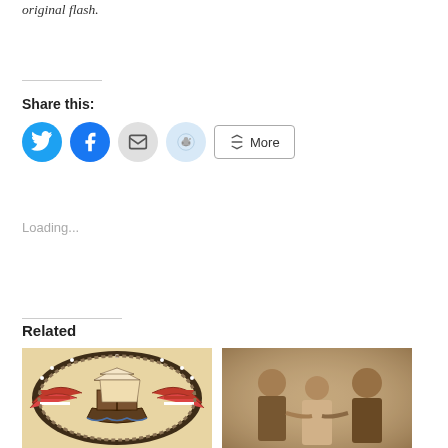original flash.
Share this:
[Figure (other): Social share buttons: Twitter, Facebook, Email, Reddit, More]
Loading...
Related
[Figure (illustration): Traditional sailor tattoo flash art showing a tall ship surrounded by an eagle with American flags, rope border, on aged beige background]
[Figure (photo): Vintage sepia photograph of three people, two men and a child or woman in middle, posed together]